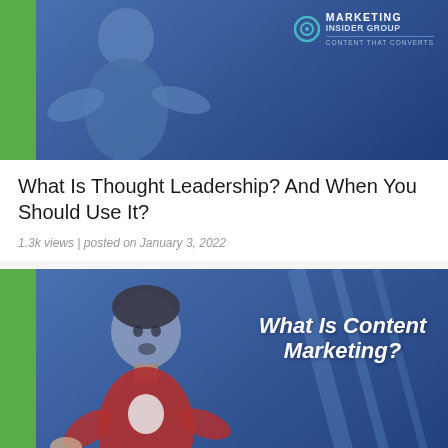[Figure (screenshot): Marketing Insider Group thumbnail image with blue background, green left bar, person silhouette on left, and Marketing Insider Group logo with 'Content That Converts' tagline on upper right]
What Is Thought Leadership? And When You Should Use It?
1.3k views | posted on January 3, 2022
[Figure (screenshot): Marketing Insider Group thumbnail image with blue gradient background, green left bar, young man in plaid shirt looking surprised, bold italic text 'What Is Content Marketing?' on right side, and Marketing Insider Group logo at bottom right]